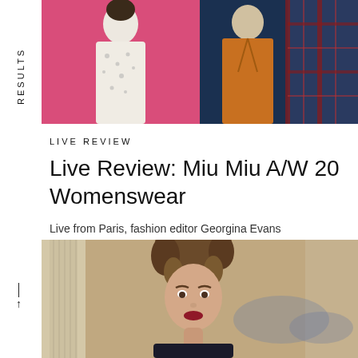RESULTS
[Figure (photo): Top image strip showing two fashion models — left: model in white floral dress against pink background; right: model in mustard/orange coat with plaid fabric visible on right side against dark teal background]
LIVE REVIEW
Live Review: Miu Miu A/W 20 Womenswear
Live from Paris, fashion editor Georgina Evans reviews the Miu Miu womenswear show.
WOMENSWEAR
LIVE REVIEWS
[Figure (photo): Bottom partial image showing a female model with curly brown hair and red lips walking a runway, classical stone columns visible in background with blurred crowd]